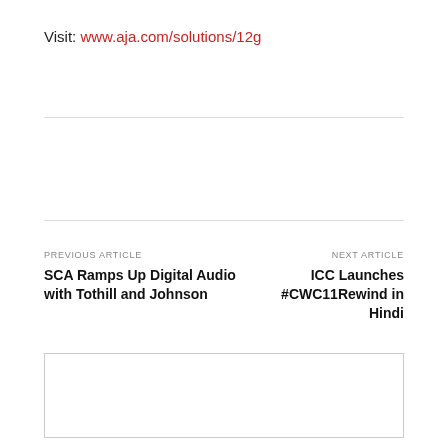Visit: www.aja.com/solutions/12g
PREVIOUS ARTICLE
SCA Ramps Up Digital Audio with Tothill and Johnson
NEXT ARTICLE
ICC Launches #CWC11Rewind in Hindi